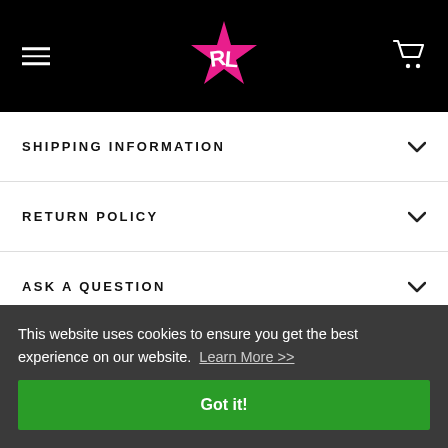[Figure (logo): Black header bar with hamburger menu icon on left, stylized 'RL' logo in pink star in center, shopping cart icon on right]
SHIPPING INFORMATION
RETURN POLICY
ASK A QUESTION
This website uses cookies to ensure you get the best experience on our website. Learn More >>
Got it!